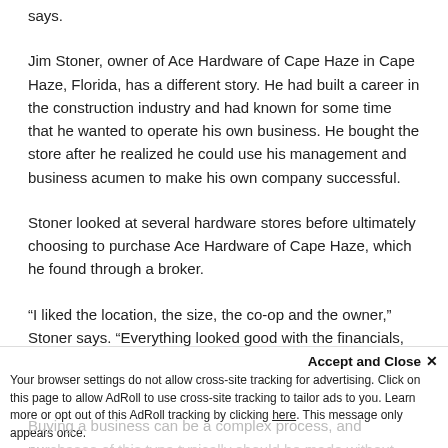says.
Jim Stoner, owner of Ace Hardware of Cape Haze in Cape Haze, Florida, has a different story. He had built a career in the construction industry and had known for some time that he wanted to operate his own business. He bought the store after he realized he could use his management and business acumen to make his own company successful.
Stoner looked at several hardware stores before ultimately choosing to purchase Ace Hardware of Cape Haze, which he found through a broker.
“I liked the location, the size, the co-op and the owner,” Stoner says. “Everything looked good with the financials, and we decided to move forward with the purchase.”
Identifying Advisers
Buying a business can be a complex process, and purchases of this type typically should be made without advice from a
Your browser settings do not allow cross-site tracking for advertising. Click on this page to allow AdRoll to use cross-site tracking to tailor ads to you. Learn more or opt out of this AdRoll tracking by clicking here. This message only appears once.